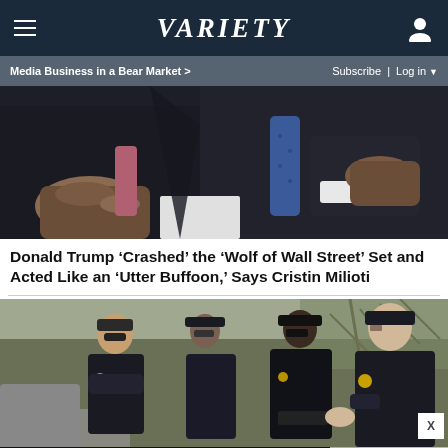Variety
Media Business in a Bear Market > | Subscribe | Log in
[Figure (photo): Close-up of two men in suits, one with a blue tie, hands visible, sitting together]
Donald Trump ‘Crashed’ the ‘Wolf of Wall Street’ Set and Acted Like an ‘Utter Buffoon,’ Says Cristin Milioti
[Figure (photo): Three police officers in dark uniforms walking outdoors near trees]
[Figure (other): Advertisement: Amazon Fire HD Tablets Just $45 Right Now — SPY]